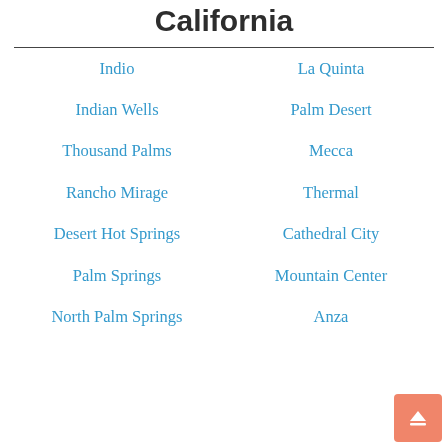California
Indio
La Quinta
Indian Wells
Palm Desert
Thousand Palms
Mecca
Rancho Mirage
Thermal
Desert Hot Springs
Cathedral City
Palm Springs
Mountain Center
North Palm Springs
Anza